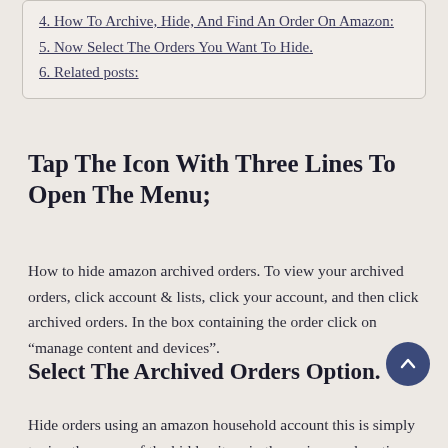4. How To Archive, Hide, And Find An Order On Amazon:
5. Now Select The Orders You Want To Hide.
6. Related posts:
Tap The Icon With Three Lines To Open The Menu;
How to hide amazon archived orders. To view your archived orders, click account & lists, click your account, and then click archived orders. In the box containing the order click on “manage content and devices”.
Select The Archived Orders Option.
Hide orders using an amazon household account this is simply typing the name of the hidden item in the main search option. Go to the amazon website and log in to your